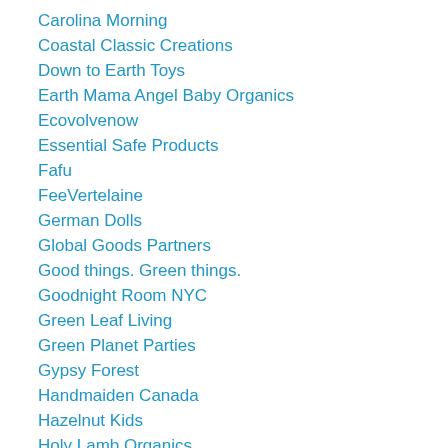Carolina Morning
Coastal Classic Creations
Down to Earth Toys
Earth Mama Angel Baby Organics
Ecovolvenow
Essential Safe Products
Fafu
FeeVertelaine
German Dolls
Global Goods Partners
Good things. Green things.
Goodnight Room NYC
Green Leaf Living
Green Planet Parties
Gypsy Forest
Handmaiden Canada
Hazelnut Kids
Holy Lamb Organics
Imagine Childhood
Island Picnic